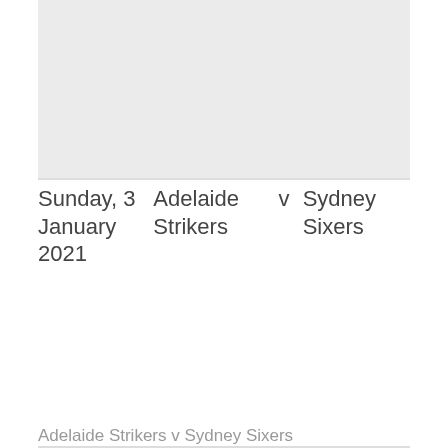[Figure (photo): Gray placeholder image area at the top of the page]
Sunday, 3 January 2021
Adelaide Strikers
v
Sydney Sixers
Adelaide Strikers v Sydney Sixers